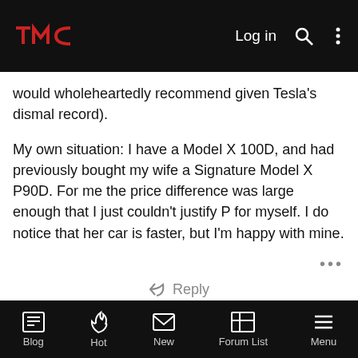TMC Log in
would wholeheartedly recommend given Tesla's dismal record).
My own situation: I have a Model X 100D, and had previously bought my wife a Signature Model X P90D. For me the price difference was large enough that I just couldn't justify P for myself. I do notice that her car is faster, but I'm happy with mine.
Reply
dhrivnak
Active Member
#12
Mar 11, 2018
Blog  Hot  New  Forum List  Menu